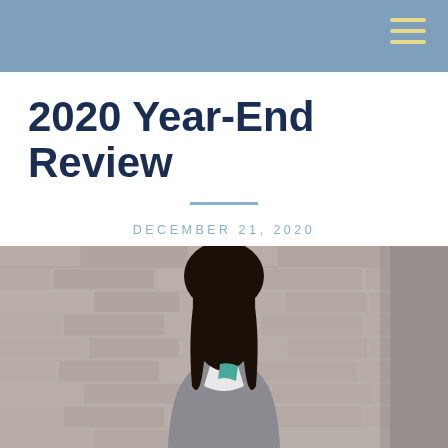2020 Year-End Review
DECEMBER 21, 2020
YEAR END REVIEW
[Figure (photo): A smiling woman with glasses and long dark hair wearing a grey cardigan over a teal floral top, standing in front of a brick wall in an alley.]